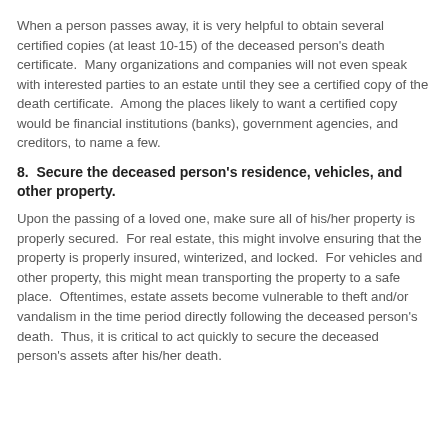When a person passes away, it is very helpful to obtain several certified copies (at least 10-15) of the deceased person's death certificate.  Many organizations and companies will not even speak with interested parties to an estate until they see a certified copy of the death certificate.  Among the places likely to want a certified copy would be financial institutions (banks), government agencies, and creditors, to name a few.
8.  Secure the deceased person's residence, vehicles, and other property.
Upon the passing of a loved one, make sure all of his/her property is properly secured.  For real estate, this might involve ensuring that the property is properly insured, winterized, and locked.  For vehicles and other property, this might mean transporting the property to a safe place.  Oftentimes, estate assets become vulnerable to theft and/or vandalism in the time period directly following the deceased person's death.  Thus, it is critical to act quickly to secure the deceased person's assets after his/her death.